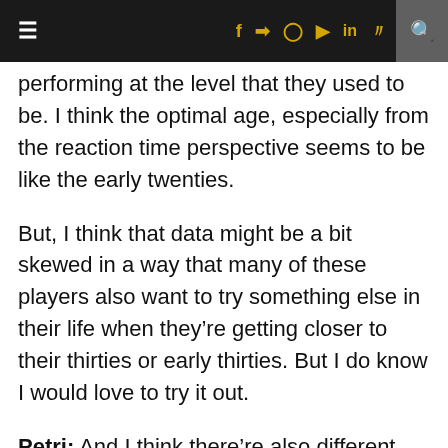≡  f  y  ◎  ▶  in  )))  🔍
performing at the level that they used to be. I think the optimal age, especially from the reaction time perspective seems to be like the early twenties.
But, I think that data might be a bit skewed in a way that many of these players also want to try something else in their life when they're getting closer to their thirties or early thirties. But I do know I would love to try it out.
Petri: And I think there're also different types of games. Not all of them require fast reactions in the sense that you need to shot someone to do something